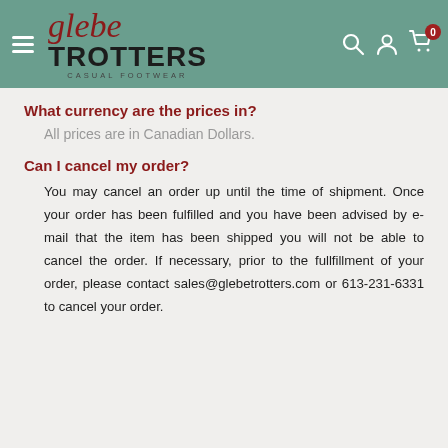Glebe Trotters Casual Footwear
What currency are the prices in?
All prices are in Canadian Dollars.
Can I cancel my order?
You may cancel an order up until the time of shipment. Once your order has been fulfilled and you have been advised by e-mail that the item has been shipped you will not be able to cancel the order. If necessary, prior to the fullfillment of your order, please contact sales@glebetrotters.com or 613-231-6331 to cancel your order.